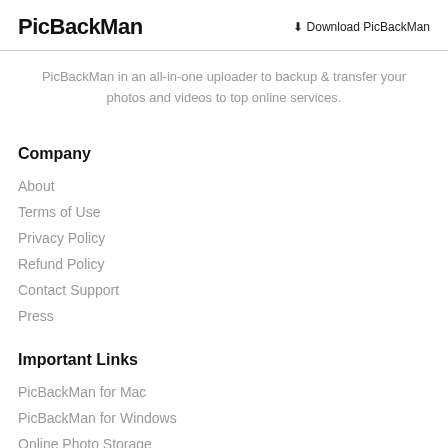PicBackMan | Download PicBackMan
PicBackMan in an all-in-one uploader to backup & transfer your photos and videos to top online services.
Company
About
Terms of Use
Privacy Policy
Refund Policy
Contact Support
Press
Important Links
PicBackMan for Mac
PicBackMan for Windows
Online Photo Storage